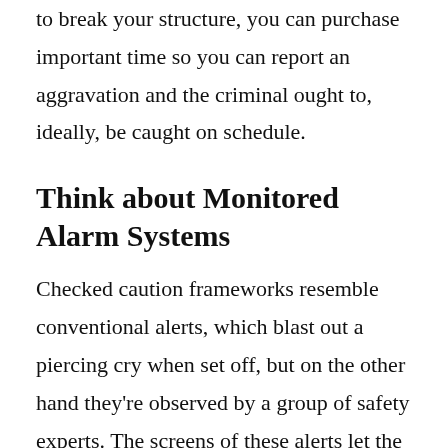to break your structure, you can purchase important time so you can report an aggravation and the criminal ought to, ideally, be caught on schedule.
Think about Monitored Alarm Systems
Checked caution frameworks resemble conventional alerts, which blast out a piercing cry when set off, but on the other hand they're observed by a group of safety experts. The screens of these alerts let the significant specialists know when a caution has been stumbled, accelerating their appearance time and diminishing the